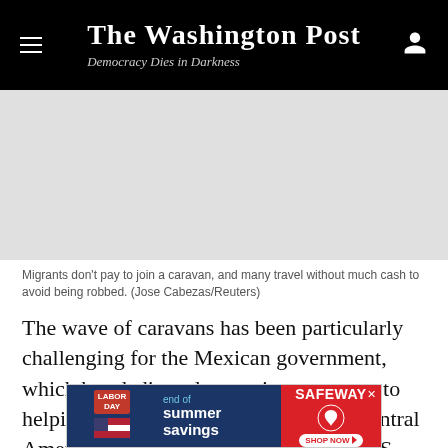The Washington Post — Democracy Dies in Darkness
[Figure (photo): Photo placeholder area showing a light gray background, representing an image of migrants in a caravan.]
Migrants don't pay to join a caravan, and many travel without much cash to avoid being robbed. (Jose Cabezas/Reuters)
The wave of caravans has been particularly challenging for the Mexican government, which has dedicated extensive resources to helping its northern neighbor prevent Central American migrants from reaching the U.S. border by deterring them during their
[Figure (other): Advertisement banner: LABOR DAY end of summer savings / SAFEWAY SHOP NOW]